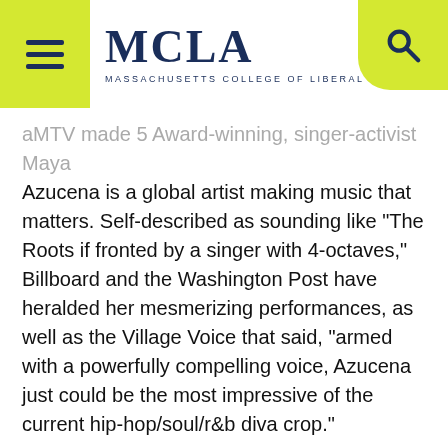MCLA — MASSACHUSETTS COLLEGE OF LIBERAL ARTS
aMTV made 5 Award-winning, singer-activist Maya Azucena is a global artist making music that matters. Self-described as sounding like “The Roots if fronted by a singer with 4-octaves,” Billboard and the Washington Post have heralded her mesmerizing performances, as well as the Village Voice that said, “armed with a powerfully compelling voice, Azucena just could be the most impressive of the current hip-hop/soul/r&b diva crop.”